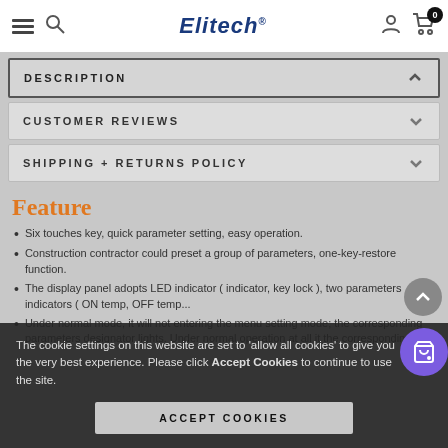Elitech — navigation bar with hamburger menu, search, user icon, cart (0 items)
DESCRIPTION
CUSTOMER REVIEWS
SHIPPING + RETURNS POLICY
Feature
Six touches key, quick parameter setting, easy operation.
Construction contractor could preset a group of parameters, one-key-restore function.
The display panel adopts LED indicator (indicator, key lock), two parameters indicators (ON temp, OFF temp...
Under normal mode, it will not entering the menu setting mode; the corresponding parameters designator lights. Under normal operation at all it the corresponding...
The cookie settings on this website are set to 'allow all cookies' to give you the very best experience. Please click Accept Cookies to continue to use the site.
ACCEPT COOKIES